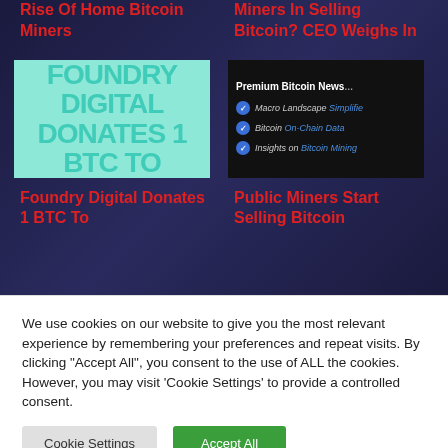Rise Of Home Bitcoin Miners
Miners In Selling Bitcoin? CEO Weighs In
[Figure (other): Foundry Digital Donates 1 BTC To thumbnail - teal background with large watermark text]
[Figure (screenshot): Premium Bitcoin News screenshot showing checklist items: Macro Landscape Simplified, Bitcoin On-Chain Data, Insights on Bitcoin Mining]
Foundry Digital Donates 1 BTC To
Public Miners Start Selling Bitcoin
We use cookies on our website to give you the most relevant experience by remembering your preferences and repeat visits. By clicking "Accept All", you consent to the use of ALL the cookies. However, you may visit 'Cookie Settings' to provide a controlled consent.
Cookie Settings
Accept All